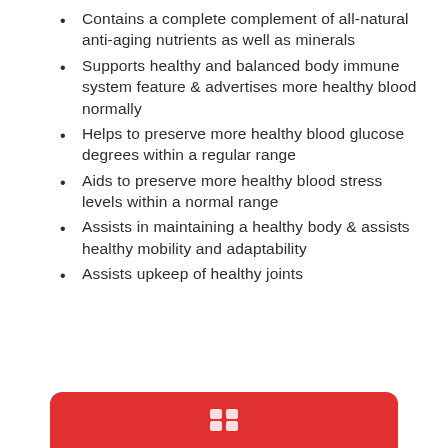Contains a complete complement of all-natural anti-aging nutrients as well as minerals
Supports healthy and balanced body immune system feature & advertises more healthy blood normally
Helps to preserve more healthy blood glucose degrees within a regular range
Aids to preserve more healthy blood stress levels within a normal range
Assists in maintaining a healthy body & assists healthy mobility and adaptability
Assists upkeep of healthy joints
[Figure (other): Red rounded button at the bottom of the page, partially visible, with small icons]